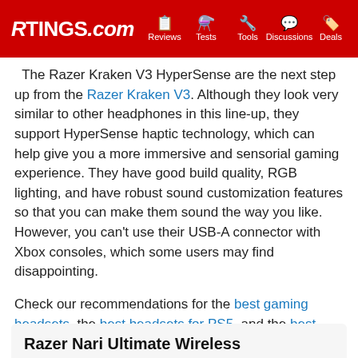RTINGS.com | Reviews | Tests | Tools | Discussions | Deals
The Razer Kraken V3 HyperSense are the next step up from the Razer Kraken V3. Although they look very similar to other headphones in this line-up, they support HyperSense haptic technology, which can help give you a more immersive and sensorial gaming experience. They have good build quality, RGB lighting, and have robust sound customization features so that you can make them sound the way you like. However, you can't use their USB-A connector with Xbox consoles, which some users may find disappointing.
Check our recommendations for the best gaming headsets, the best headsets for PS5, and the best wired headphones.
Razer Nari Ultimate Wireless